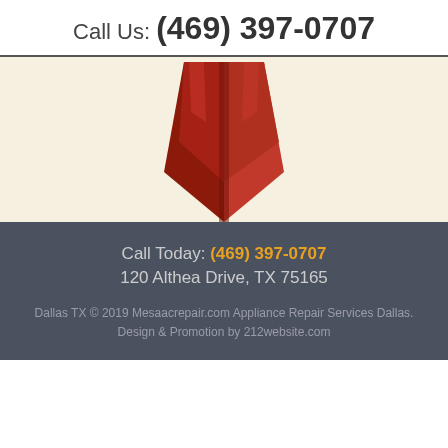Call Us: (469) 397-0707
[Figure (illustration): Red award ribbon/rosette hanging down from top center against a cream/beige background]
Call Today: (469) 397-0707
120 Althea Drive, TX 75165
Dallas TX © 2019 Mesaacrepair.com Appliance Repair Services Dallas.
Design & Promotion by 212website.com